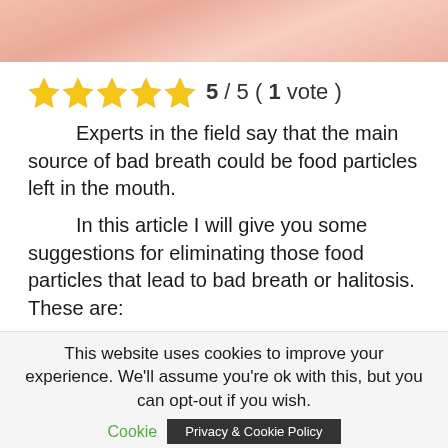[Figure (photo): Close-up photo of a person's face/mouth area, skin tones visible at top of page]
5 / 5 ( 1 vote )
Experts in the field say that the main source of bad breath could be food particles left in the mouth.
In this article I will give you some suggestions for eliminating those food particles that lead to bad breath or halitosis. These are:
Brush your teeth after eating. Specialists recommend people to brush after each meal. If there are situations when you can't do this, I recommend chewing a sugar-
This website uses cookies to improve your experience. We'll assume you're ok with this, but you can opt-out if you wish.